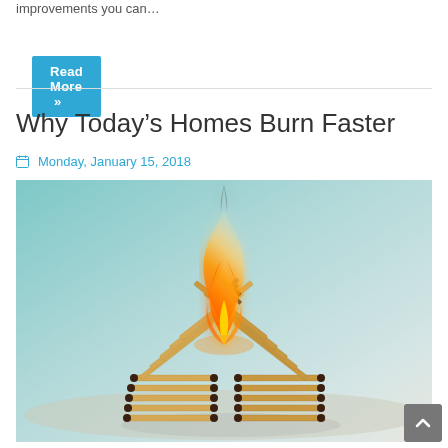improvements you can…
Read More »
Why Today's Homes Burn Faster
Monday, January 15, 2018
[Figure (photo): A house-shaped structure made from matchsticks on fire, with a large orange flame rising from the center, on a light teal/grey background]